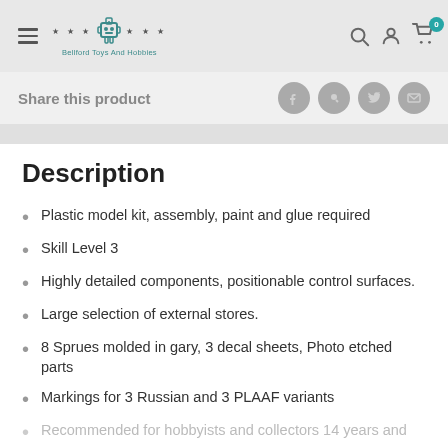Bellford Toys And Hobbies — navigation header with hamburger menu, logo, search, account, and cart icons
Share this product
Description
Plastic model kit, assembly, paint and glue required
Skill Level 3
Highly detailed components, positionable control surfaces.
Large selection of external stores.
8 Sprues molded in gary, 3 decal sheets, Photo etched parts
Markings for 3 Russian and 3 PLAAF variants
Recommended for hobbyists and collectors 14 years and